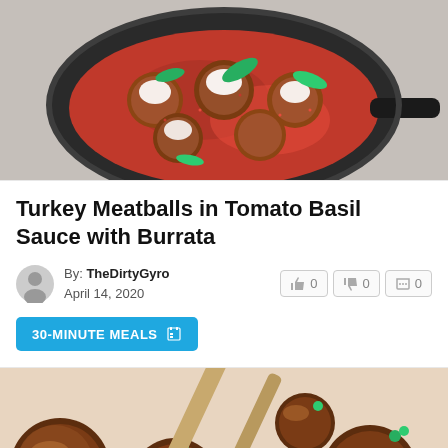[Figure (photo): Top-down photo of turkey meatballs in tomato basil sauce with white burrata cheese and fresh basil in a black cast iron skillet]
Turkey Meatballs in Tomato Basil Sauce with Burrata
By: TheDirtyGyro
April 14, 2020
[Figure (photo): Close-up photo of glazed meatballs with sesame seeds and green onions, with wooden chopsticks or skewers visible]